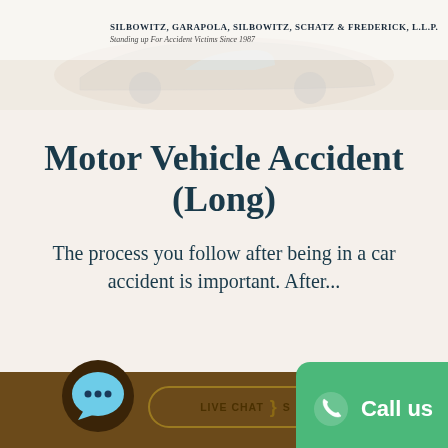[Figure (screenshot): Law firm letterhead header with firm name and a faint car accident background image]
SILBOWITZ, GARAPOLA, SILBOWITZ, SCHATZ & FREDERICK, L.L.P.
Standing up For Accident Victims Since 1987
Motor Vehicle Accident (Long)
The process you follow after being in a car accident is important. After...
[Figure (illustration): Bottom bar with live chat icon, LIVE CHAT button, and green Call us button]